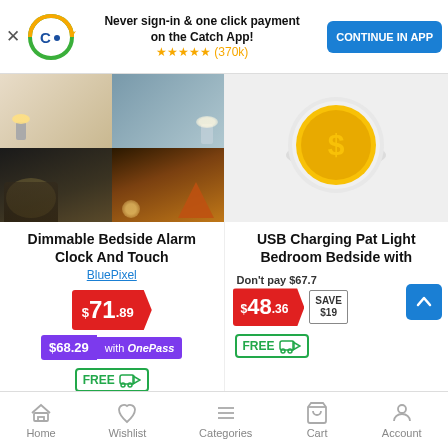[Figure (screenshot): App promotional banner with Catch.com.au logo, text 'Never sign-in & one click payment on the Catch App!', 5 gold stars, (370k) reviews, and blue 'CONTINUE IN APP' button]
[Figure (photo): Collage of 4 images showing dimmable bedside lamp in various settings: lamp on table, blue background, person reading at desk with lamp, tent camping scene]
Dimmable Bedside Alarm Clock And Touch
BluePixel
$71.89
$68.29 with OnePass
FREE delivery
[Figure (illustration): Dollar coin illustration on light gray circular background]
USB Charging Pat Light Bedroom Bedside with
Don't pay $67.7
$48.36 SAVE $19
FREE delivery
Home | Wishlist | Categories | Cart | Account